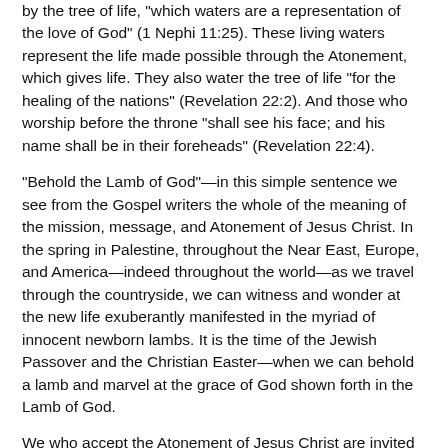by the tree of life, "which waters are a representation of the love of God" (1 Nephi 11:25). These living waters represent the life made possible through the Atonement, which gives life. They also water the tree of life "for the healing of the nations" (Revelation 22:2). And those who worship before the throne "shall see his face; and his name shall be in their foreheads" (Revelation 22:4).
"Behold the Lamb of God"—in this simple sentence we see from the Gospel writers the whole of the meaning of the mission, message, and Atonement of Jesus Christ. In the spring in Palestine, throughout the Near East, Europe, and America—indeed throughout the world—as we travel through the countryside, we can witness and wonder at the new life exuberantly manifested in the myriad of innocent newborn lambs. It is the time of the Jewish Passover and the Christian Easter—when we can behold a lamb and marvel at the grace of God shown forth in the Lamb of God.
We who accept the Atonement of Jesus Christ are invited to the marriage supper of the Lamb (see Revelation 19:1–9; D&C 58:1–11). We can then join with all of the heavenly hosts that bow before the triumphant Lamb in singing the hymn immortalized with the music of Handel: "Worthy is the Lamb